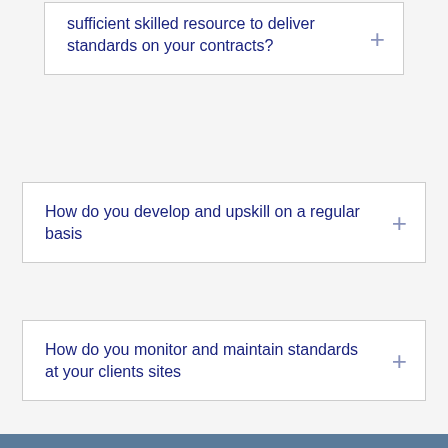sufficient skilled resource to deliver standards on your contracts?
How do you develop and upskill on a regular basis
How do you monitor and maintain standards at your clients sites
How do you mobilise for a new contract